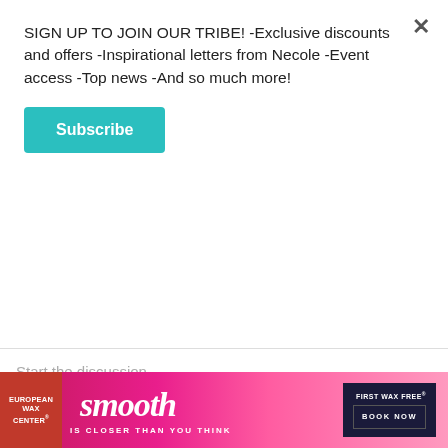SIGN UP TO JOIN OUR TRIBE! -Exclusive discounts and offers -Inspirational letters from Necole -Event access -Top news -And so much more!
Subscribe
Start the discussion...
LOG IN WITH
OR SIGN UP WITH DISQUS
Name
Be the first to comment.
[Figure (screenshot): Advertisement banner for European Wax Center featuring the word 'smooth' in large italic font with tagline 'IS CLOSER THAN YOU THINK' and a 'BOOK NOW' button. First wax free offer noted.]